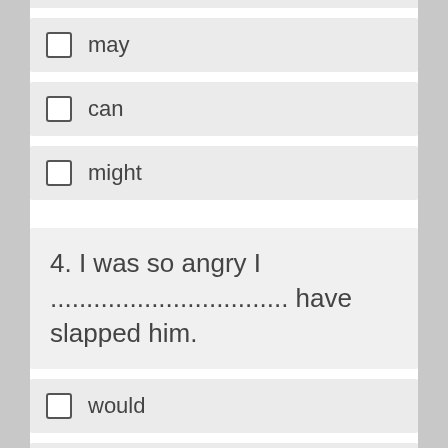may
can
might
4. I was so angry I ................................. have slapped him.
would
could